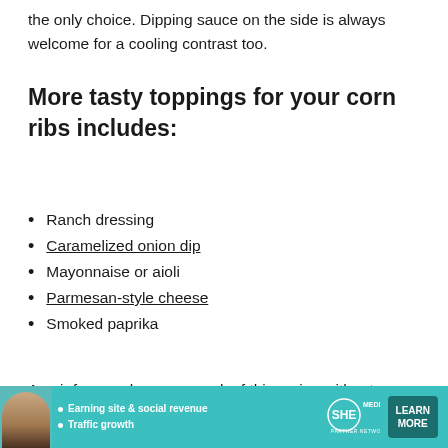the only choice. Dipping sauce on the side is always welcome for a cooling contrast too.
More tasty toppings for your corn ribs includes:
Ranch dressing
Caramelized onion dip
Mayonnaise or aioli
Parmesan-style cheese
Smoked paprika
An air fryer makes easy work of this recipe without heating up the whole house, but it's a snap to toss
[Figure (infographic): Advertisement banner for SHE Media Partner Network with a woman's photo, bullet points about Earning site & social revenue and Traffic growth, SHE Media logo, and a Learn More button.]